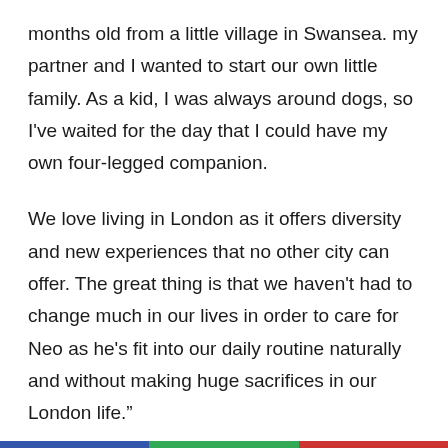months old from a little village in Swansea. my partner and I wanted to start our own little family. As a kid, I was always around dogs, so I've waited for the day that I could have my own four-legged companion.
We love living in London as it offers diversity and new experiences that no other city can offer. The great thing is that we haven't had to change much in our lives in order to care for Neo as he's fit into our daily routine naturally and without making huge sacrifices in our London life.”